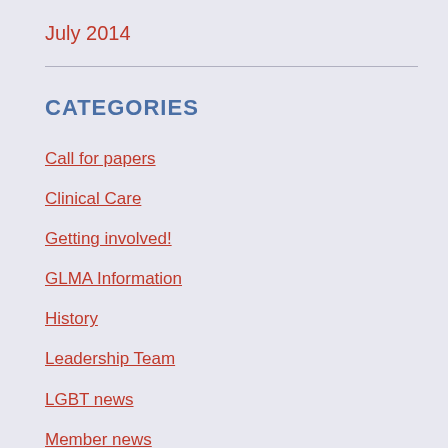July 2014
CATEGORIES
Call for papers
Clinical Care
Getting involved!
GLMA Information
History
Leadership Team
LGBT news
Member news
Nursing summit
Organizational climate